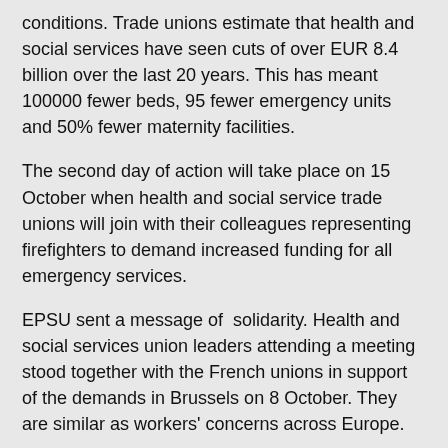conditions. Trade unions estimate that health and social services have seen cuts of over EUR 8.4 billion over the last 20 years. This has meant 100000 fewer beds, 95 fewer emergency units and 50% fewer maternity facilities.
The second day of action will take place on 15 October when health and social service trade unions will join with their colleagues representing firefighters to demand increased funding for all emergency services.
EPSU sent a message of  solidarity. Health and social services union leaders attending a meeting stood together with the French unions in support of the demands in Brussels on 8 October. They are similar as workers' concerns across Europe.
France
Log in to post comments